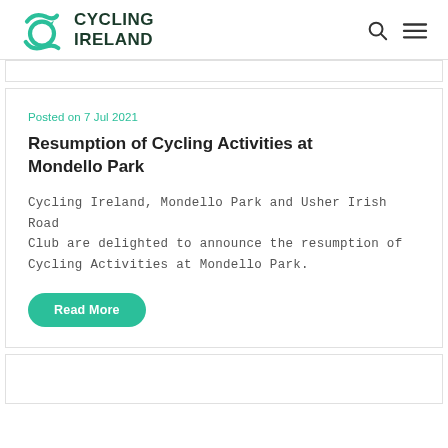Cycling Ireland
Posted on 7 Jul 2021
Resumption of Cycling Activities at Mondello Park
Cycling Ireland, Mondello Park and Usher Irish Road Club are delighted to announce the resumption of Cycling Activities at Mondello Park.
Read More